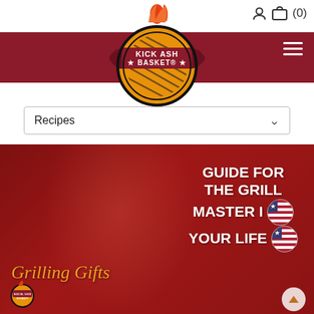[Figure (logo): Kick Ash Basket logo — orange circle with black basketball stripes, flame on top, ribbon banner reading KICK ASH BASKET with stars]
[Figure (screenshot): User/account icon and shopping cart icon with (0) item count in header top-right]
[Figure (infographic): Hamburger menu icon (three white horizontal lines) on dark red header bar]
[Figure (screenshot): Dropdown select bar labeled Recipes with chevron]
[Figure (photo): Hero banner with red-tinted photo of smiling man holding grilling tools. Text overlay: Grilling Gifts in orange script on left; GUIDE FOR THE GRILL MASTER IN YOUR LIFE in bold white uppercase on right with US flag circle. Kick Ash Basket small logo at bottom-left. Scroll-up arrow button at bottom-right.]